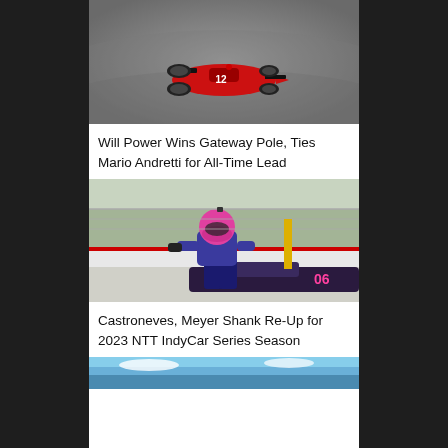[Figure (photo): Red IndyCar racing car #12 on a track, aerial/elevated view, gray asphalt background]
Will Power Wins Gateway Pole, Ties Mario Andretti for All-Time Lead
[Figure (photo): Racing driver in pink/magenta helmet and blue racing suit kneeling on IndyCar #06, pit lane background with trees and barriers]
Castroneves, Meyer Shank Re-Up for 2023 NTT IndyCar Series Season
[Figure (photo): Partial view of another racing photo at bottom, blue sky visible]